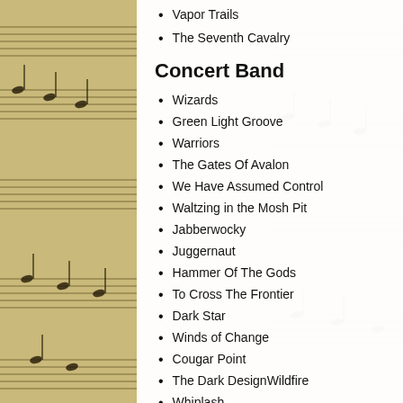Vapor Trails
The Seventh Cavalry
Concert Band
Wizards
Green Light Groove
Warriors
The Gates Of Avalon
We Have Assumed Control
Waltzing in the Mosh Pit
Jabberwocky
Juggernaut
Hammer Of The Gods
To Cross The Frontier
Dark Star
Winds of Change
Cougar Point
The Dark DesignWildfire
Whiplash
When My Time Has Passed
Film At Eleven